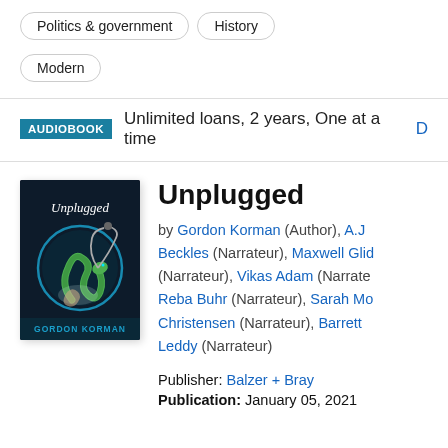Politics & government
History
Modern
AUDIOBOOK  Unlimited loans, 2 years, One at a time  D
[Figure (illustration): Book cover of 'Unplugged' by Gordon Korman: dark background with a snake holding earphones, glowing blue circular element, title in white handwritten font, author name at bottom in teal.]
Unplugged
by Gordon Korman (Author), A.J. Beckles (Narrateur), Maxwell Glick (Narrateur), Vikas Adam (Narrateur), Reba Buhr (Narrateur), Sarah Mo Christensen (Narrateur), Barrett Leddy (Narrateur)
Publisher: Balzer + Bray
Publication: January 05, 2021